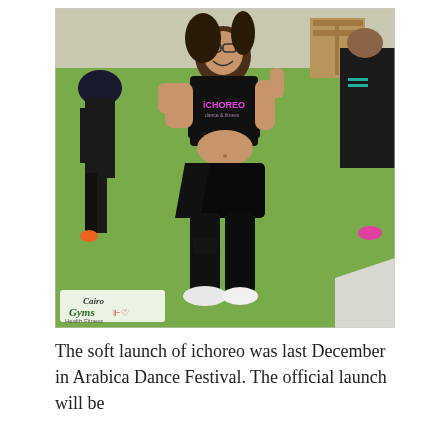[Figure (photo): Outdoor dance event photo showing a woman in a black 'ICHOREO' t-shirt dancing energetically on a green turf surface. She is lifting her shirt to expose her midriff, smiling, wearing black leggings and white sneakers. Other dancers in black outfits are visible in the background. A 'Cairo Gyms Health Fitness' watermark/logo appears in the lower left corner of the photo.]
The soft launch of ichoreo was last December in Arabica Dance Festival. The official launch will be